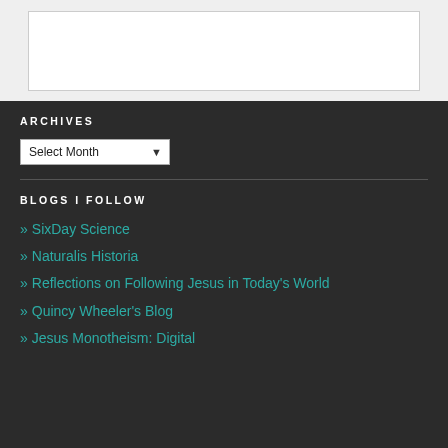[Figure (screenshot): White content box at top of page on light gray background]
ARCHIVES
Select Month (dropdown)
BLOGS I FOLLOW
» SixDay Science
» Naturalis Historia
» Reflections on Following Jesus in Today's World
» Quincy Wheeler's Blog
» Jesus Monotheism: Digital